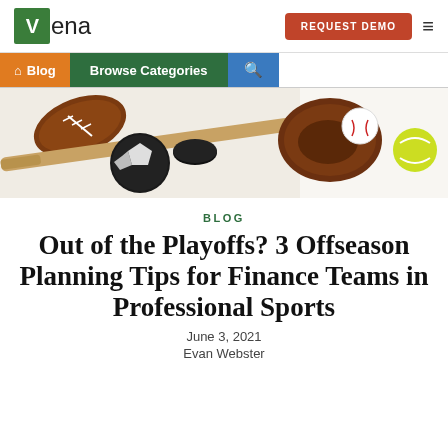Vena | REQUEST DEMO
[Figure (screenshot): Website navigation bar with Vena logo, REQUEST DEMO button, hamburger menu, Blog button, Browse Categories button, and search icon]
[Figure (photo): Sports equipment including a football, hockey puck, baseball, baseball glove, baseball bat, soccer ball, and tennis ball arranged together]
BLOG
Out of the Playoffs? 3 Offseason Planning Tips for Finance Teams in Professional Sports
June 3, 2021
Evan Webster